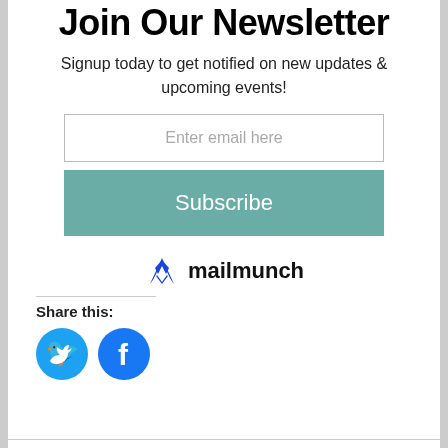Join Our Newsletter
Signup today to get notified on new updates & upcoming events!
[Figure (screenshot): Email input field with placeholder text 'Enter email here']
[Figure (screenshot): Subscribe button in teal/sage green color]
[Figure (logo): Mailmunch logo with blue M icon and 'mailmunch' text in bold black]
Share this:
[Figure (infographic): Twitter and Facebook share icon buttons as blue circles with white bird and f icons]